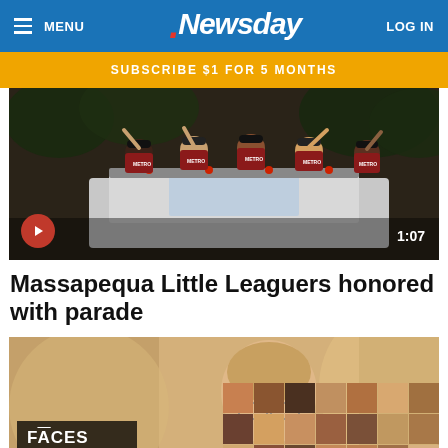MENU | Newsday | LOG IN
SUBSCRIBE $1 FOR 5 MONTHS
[Figure (photo): Video thumbnail showing Massapequa Little Leaguers waving from a truck at a parade. Play button visible at bottom left, duration 1:07 at bottom right.]
Massapequa Little Leaguers honored with parade
[Figure (photo): Photo of an older bald man with glasses, with a 'Faces of Long Island' overlay showing a grid of portrait thumbnails of various people.]